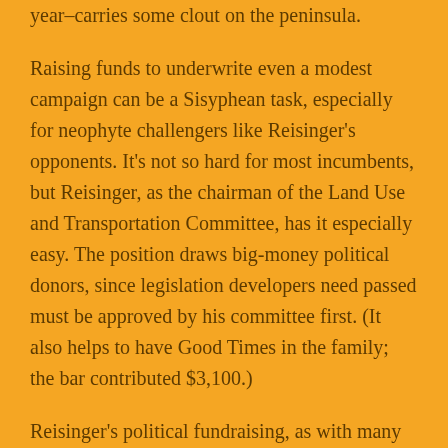year–carries some clout on the peninsula.
Raising funds to underwrite even a modest campaign can be a Sisyphean task, especially for neophyte challengers like Reisinger's opponents. It's not so hard for most incumbents, but Reisinger, as the chairman of the Land Use and Transportation Committee, has it especially easy. The position draws big-money political donors, since legislation developers need passed must be approved by his committee first. (It also helps to have Good Times in the family; the bar contributed $3,100.)
Reisinger's political fundraising, as with many politicians' campaigns, can be directly tied to his legislative record. He was sole sponsor of two enacted